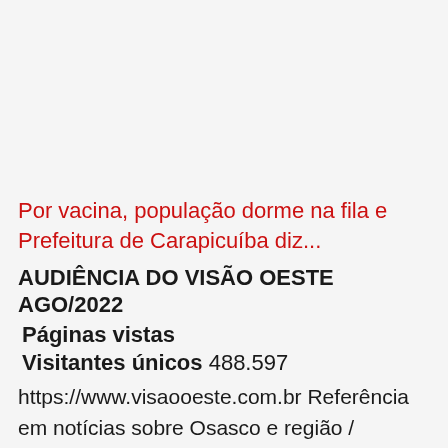Por vacina, população dorme na fila e Prefeitura de Carapicuíba diz...
AUDIÊNCIA DO VISÃO OESTE AGO/2022
Páginas vistas
Visitantes únicos 488.597
https://www.visaooeste.com.br Referência em notícias sobre Osasco e região / Contato: (011) 3654-4172 / Rua Machado de Assis, 797 - Sala 405 - Centro - Osasco - São Paulo - Brasil - CEP 06018-030